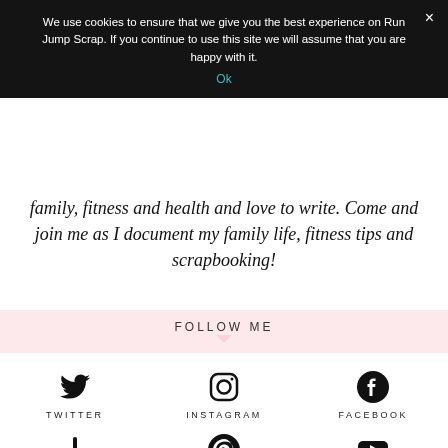We use cookies to ensure that we give you the best experience on Run Jump Scrap. If you continue to use this site we will assume that you are happy with it.
Ok
family, fitness and health and love to write. Come and join me as I document my family life, fitness tips and scrapbooking!
FOLLOW ME
[Figure (infographic): Social media icons grid: Twitter (bird icon), Instagram (camera icon), Facebook (f icon), Bloglovin (plus icon), Pinterest (P icon), YouTube (play button icon), and an email envelope icon at the bottom]
TWITTER
INSTAGRAM
FACEBOOK
BLOGLOVIN
PINTEREST
YOUTUBE